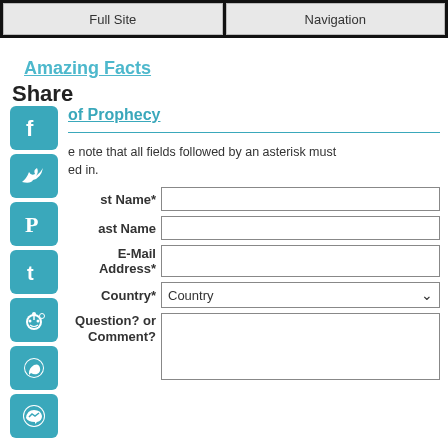Full Site | Navigation
Amazing Facts
Share
of Prophecy
[Figure (screenshot): Social media share icons: Facebook, Twitter, Pinterest, Tumblr, Reddit, WhatsApp, Messenger]
Please note that all fields followed by an asterisk must be filled in.
First Name* [input field]
Last Name [input field]
E-Mail Address* [input field]
Country* [Country dropdown]
Question? or Comment? [textarea]